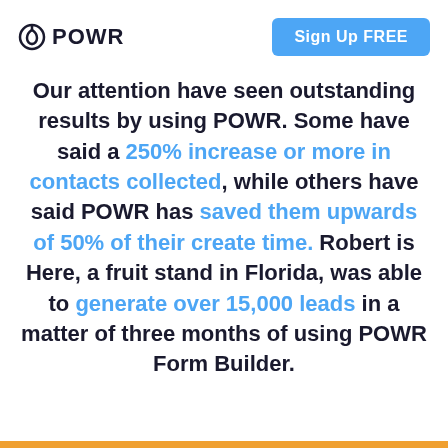POWR | Sign Up FREE
Our attention have seen outstanding results by using POWR. Some have said a 250% increase or more in contacts collected, while others have said POWR has saved them upwards of 50% of their create time. Robert is Here, a fruit stand in Florida, was able to generate over 15,000 leads in a matter of three months of using POWR Form Builder.